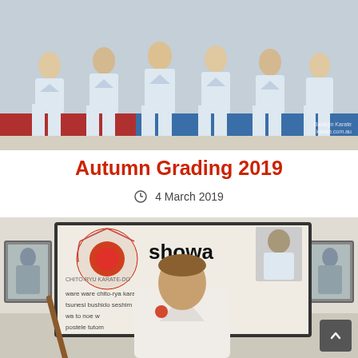[Figure (photo): Group photo of karate students in white gi uniforms standing on a blue and red mat floor]
Autumn Grading 2019
4 March 2019
[Figure (photo): Karate practitioner in white gi holding a bo staff in front of a Showa Chito-ryu Karate dojo banner]